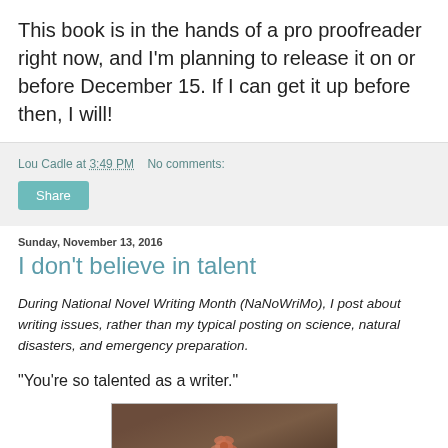This book is in the hands of a pro proofreader right now, and I'm planning to release it on or before December 15. If I can get it up before then, I will!
Lou Cadle at 3:49 PM   No comments:
Share
Sunday, November 13, 2016
I don't believe in talent
During National Novel Writing Month (NaNoWriMo), I post about writing issues, rather than my typical posting on science, natural disasters, and emergency preparation.
“You’re so talented as a writer.”
[Figure (photo): A photograph with a dark brown/wood background showing what appears to be a flower or plant in the lower center portion.]